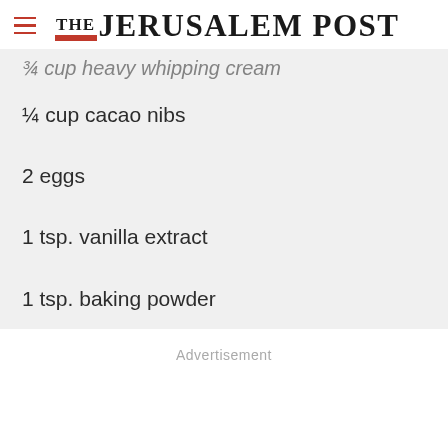THE JERUSALEM POST
¾ cup heavy whipping cream
¼ cup cacao nibs
2 eggs
1 tsp. vanilla extract
1 tsp. baking powder
Advertisement